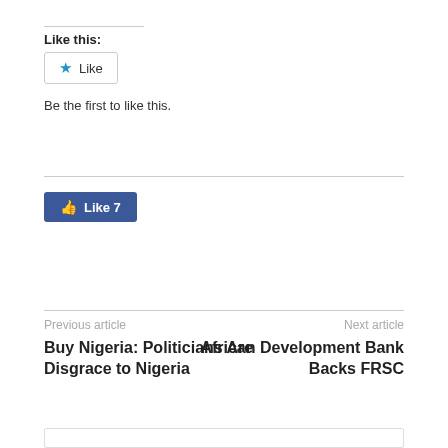Like this:
[Figure (screenshot): WordPress Like button widget with star icon and 'Like' text]
Be the first to like this.
[Figure (screenshot): Facebook Like button showing thumbs up icon and 'Like 7' count]
Previous article
Buy Nigeria: Politicians Are Disgrace to Nigeria
Next article
African Development Bank Backs FRSC